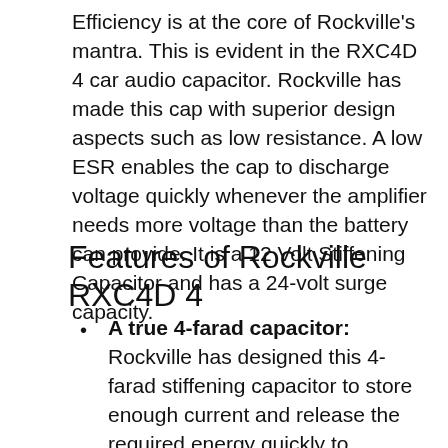Efficiency is at the core of Rockville's mantra. This is evident in the RXC4D 4 car audio capacitor. Rockville has made this cap with superior design aspects such as low resistance. A low ESR enables the cap to discharge voltage quickly whenever the amplifier needs more voltage than the battery can provide. It is a 12 Volt Stiffening Capacitor and has a 24-volt surge capacity.
Features of Rockville RXC4D 4
A true 4-farad capacitor: Rockville has designed this 4-farad stiffening capacitor to store enough current and release the required energy quickly to